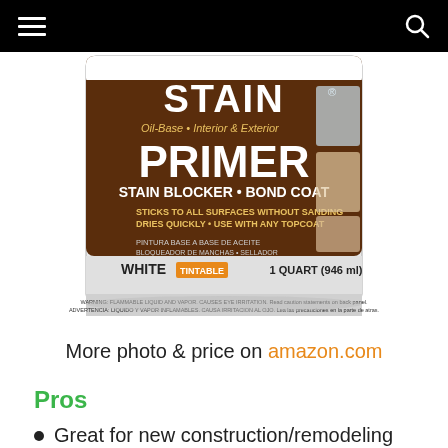[Figure (photo): A paint can labeled 'Stain Primer Stain Blocker Bond Coat' by Zinsser. Oil-Base, Interior & Exterior. Sticks to all surfaces without sanding. Dries quickly. Use with any topcoat. White tintable. 1 Quart (946 ml). Warning: Flammable liquid and vapor. Causes eye irritation.]
More photo & price on amazon.com
Pros
Great for new construction/remodeling